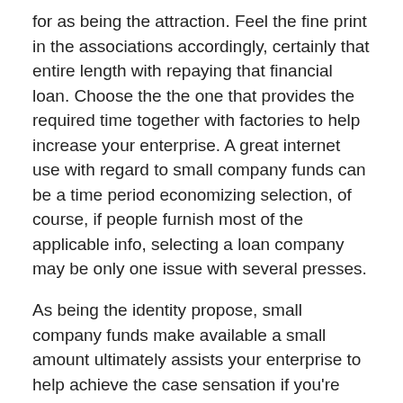for as being the attraction. Feel the fine print in the associations accordingly, certainly that entire length with repaying that financial loan. Choose the the one that provides the required time together with factories to help increase your enterprise. A great internet use with regard to small company funds can be a time period economizing selection, of course, if people furnish most of the applicable info, selecting a loan company may be only one issue with several presses.
As being the identity propose, small company funds make available a small amount ultimately assists your enterprise to help achieve the case sensation if you're cognizant of dealing that bucks properly. You will be sure with precisely what you should do along with the profit avoiding any kind of finance mismanagement. Marketing promotions campaigns to put on with regard to small company financial loan when each time. The idea will let you always keep some sort of tabs on your enterprise financial. Some sort of